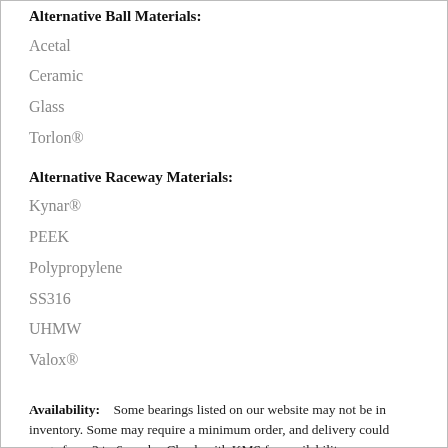Alternative Ball Materials:
Acetal
Ceramic
Glass
Torlon®
Alternative Raceway Materials:
Kynar®
PEEK
Polypropylene
SS316
UHMW
Valox®
Availability: Some bearings listed on our website may not be in inventory. Some may require a minimum order, and delivery could range from 2 to 6 weeks. Check with KMS for availability.